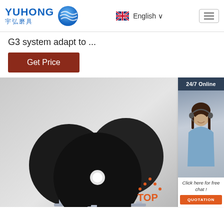[Figure (logo): YUHONG 宇弘磨具 logo with blue wave globe icon]
English
G3 system adapt to ...
Get Price
24/7 Online
[Figure (photo): Product photo of three black grinding/cutting discs on stands against gray background, with TOP badge in orange bottom right]
[Figure (photo): Customer service agent woman wearing headset smiling]
Click here for free chat !
QUOTATION